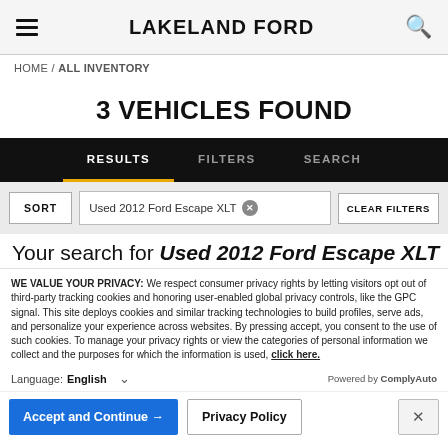LAKELAND FORD
HOME / ALL INVENTORY
3 VEHICLES FOUND
RESULTS   FILTERS   SEARCH
SORT   Used 2012 Ford Escape XLT   CLEAR FILTERS
Your search for Used 2012 Ford Escape XLT
WE VALUE YOUR PRIVACY: We respect consumer privacy rights by letting visitors opt out of third-party tracking cookies and honoring user-enabled global privacy controls, like the GPC signal. This site deploys cookies and similar tracking technologies to build profiles, serve ads, and personalize your experience across websites. By pressing accept, you consent to the use of such cookies. To manage your privacy rights or view the categories of personal information we collect and the purposes for which the information is used, click here.
Language: English  ∨   Powered by ComplyAuto
Accept and Continue →   Privacy Policy   ×